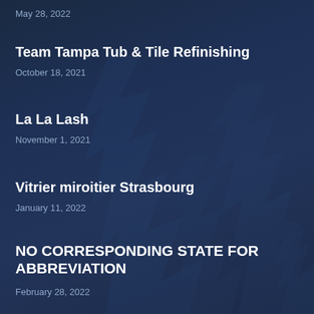May 28, 2022
Team Tampa Tub & Tile Refinishing
October 18, 2021
La La Lash
November 1, 2021
Vitrier miroitier Strasbourg
January 11, 2022
NO CORRESPONDING STATE FOR ABBREVIATION
February 28, 2022